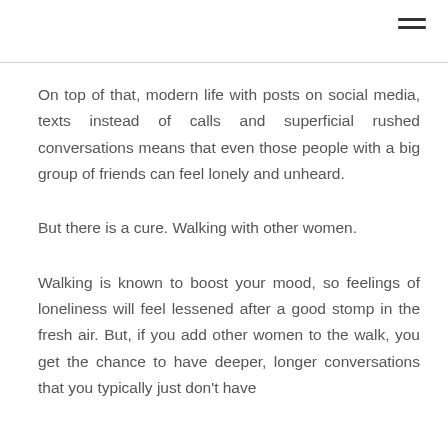On top of that, modern life with posts on social media, texts instead of calls and superficial rushed conversations means that even those people with a big group of friends can feel lonely and unheard.
But there is a cure. Walking with other women.
Walking is known to boost your mood, so feelings of loneliness will feel lessened after a good stomp in the fresh air. But, if you add other women to the walk, you get the chance to have deeper, longer conversations that you typically just don't have